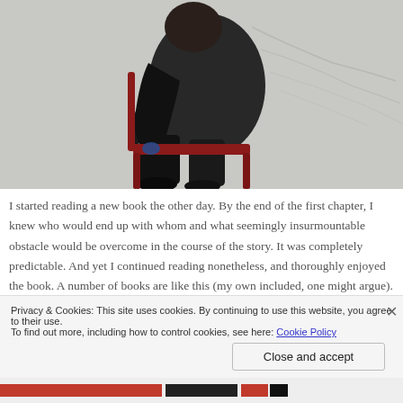[Figure (photo): Person sitting backwards on a red chair against a white textured wall, wearing dark clothing, viewed from behind/side]
I started reading a new book the other day. By the end of the first chapter, I knew who would end up with whom and what seemingly insurmountable obstacle would be overcome in the course of the story. It was completely predictable. And yet I continued reading nonetheless, and thoroughly enjoyed the book. A number of books are like this (my own included, one might argue). We know pretty much from the get-go what's going to happen. And this knowledge helps us through the conflicts and
Privacy & Cookies: This site uses cookies. By continuing to use this website, you agree to their use.
To find out more, including how to control cookies, see here: Cookie Policy
Close and accept